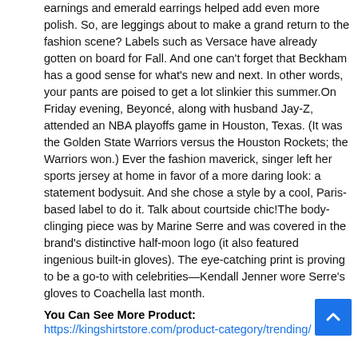earnings and emerald earrings helped add even more polish. So, are leggings about to make a grand return to the fashion scene? Labels such as Versace have already gotten on board for Fall. And one can't forget that Beckham has a good sense for what's new and next. In other words, your pants are poised to get a lot slinkier this summer.On Friday evening, Beyoncé, along with husband Jay-Z, attended an NBA playoffs game in Houston, Texas. (It was the Golden State Warriors versus the Houston Rockets; the Warriors won.) Ever the fashion maverick, singer left her sports jersey at home in favor of a more daring look: a statement bodysuit. And she chose a style by a cool, Paris-based label to do it. Talk about courtside chic!The body-clinging piece was by Marine Serre and was covered in the brand's distinctive half-moon logo (it also featured ingenious built-in gloves). The eye-catching print is proving to be a go-to with celebrities—Kendall Jenner wore Serre's gloves to Coachella last month.
You Can See More Product:
https://kingshirtstore.com/product-category/trending/